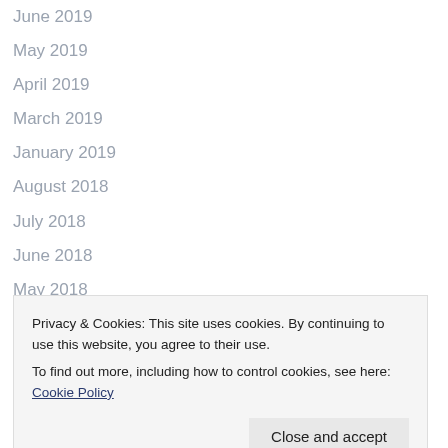June 2019
May 2019
April 2019
March 2019
January 2019
August 2018
July 2018
June 2018
May 2018
April 2018
March 2018
February 2018
Privacy & Cookies: This site uses cookies. By continuing to use this website, you agree to their use.
To find out more, including how to control cookies, see here: Cookie Policy
August 2017